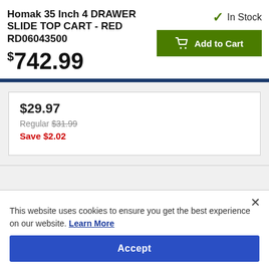Homak 35 Inch 4 DRAWER SLIDE TOP CART - RED RD06043500
$742.99
✓ In Stock
Add to Cart
$29.97
Regular $31.99
Save $2.02
This website uses cookies to ensure you get the best experience on our website. Learn More
Accept